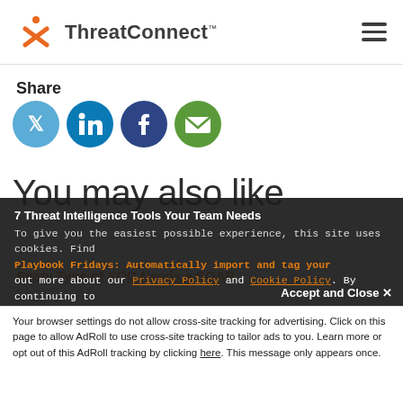ThreatConnect
Share
[Figure (illustration): Social sharing icons: Twitter (light blue circle), LinkedIn (dark blue circle), Facebook (dark navy circle), Email (green circle)]
You may also like
Every Type of SOC Needs a SOAR
7 Threat Intelligence Tools Your Team Needs
Playbook Fridays: Automatically import and tag your RSS feed data with Covid-19 Tags
To give you the easiest possible experience, this site uses cookies. Find out more about our Privacy Policy and Cookie Policy. By continuing to use this site, you are giving us your consent to do this.
Accept and Close ✕
Your browser settings do not allow cross-site tracking for advertising. Click on this page to allow AdRoll to use cross-site tracking to tailor ads to you. Learn more or opt out of this AdRoll tracking by clicking here. This message only appears once.